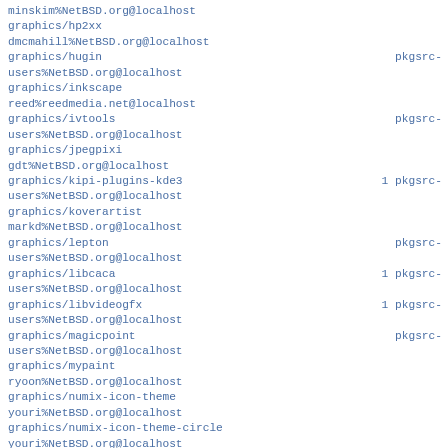minskim%NetBSD.org@localhost
graphics/hp2xx
dmcmahill%NetBSD.org@localhost
graphics/hugin                                          pkgsrc-
users%NetBSD.org@localhost
graphics/inkscape
reed%reedmedia.net@localhost
graphics/ivtools                                        pkgsrc-
users%NetBSD.org@localhost
graphics/jpegpixi
gdt%NetBSD.org@localhost
graphics/kipi-plugins-kde3                          1 pkgsrc-
users%NetBSD.org@localhost
graphics/koverartist
markd%NetBSD.org@localhost
graphics/lepton                                         pkgsrc-
users%NetBSD.org@localhost
graphics/libcaca                                    1 pkgsrc-
users%NetBSD.org@localhost
graphics/libvideogfx                                1 pkgsrc-
users%NetBSD.org@localhost
graphics/magicpoint                                     pkgsrc-
users%NetBSD.org@localhost
graphics/mypaint
ryoon%NetBSD.org@localhost
graphics/numix-icon-theme
youri%NetBSD.org@localhost
graphics/numix-icon-theme-circle
youri%NetBSD.org@localhost
graphics/nvidia-texture-tools                           pkgsrc-